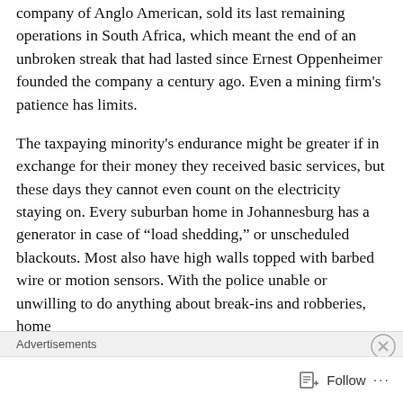company of Anglo American, sold its last remaining operations in South Africa, which meant the end of an unbroken streak that had lasted since Ernest Oppenheimer founded the company a century ago. Even a mining firm's patience has limits.
The taxpaying minority's endurance might be greater if in exchange for their money they received basic services, but these days they cannot even count on the electricity staying on. Every suburban home in Johannesburg has a generator in case of “load shedding,” or unscheduled blackouts. Most also have high walls topped with barbed wire or motion sensors. With the police unable or unwilling to do anything about break-ins and robberies, home
Advertisements
Follow ···